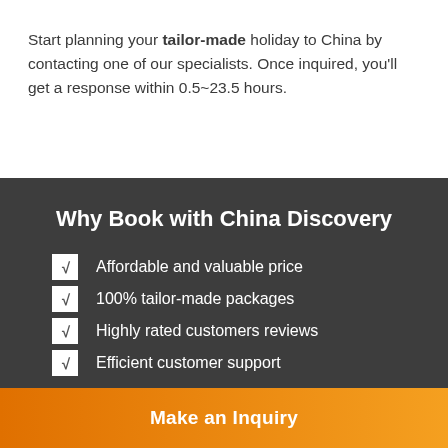Start planning your tailor-made holiday to China by contacting one of our specialists. Once inquired, you'll get a response within 0.5~23.5 hours.
Why Book with China Discovery
Affordable and valuable price
100% tailor-made packages
Highly rated customers reviews
Efficient customer support
Make an Inquiry